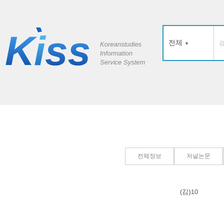[Figure (logo): KISS - Koreanstudies Information Service System logo with blue stylized text and gray subtitle]
전체  ∨  검색어를 입력하세요.
전체정보  저널논문  저
(김)10